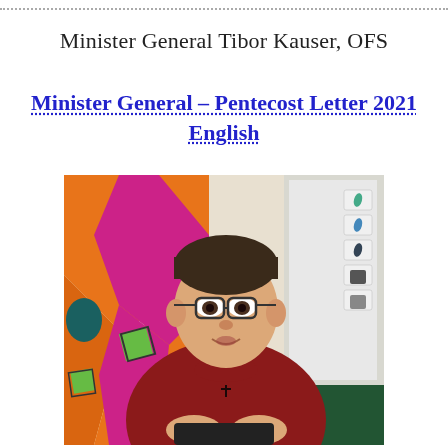Minister General Tibor Kauser, OFS
Minister General – Pentecost Letter 2021 English
[Figure (photo): A man with short dark hair and glasses, wearing a red sweater with a small cross pendant, sitting and holding a pen, with a colorful abstract artwork and a whiteboard visible in the background.]